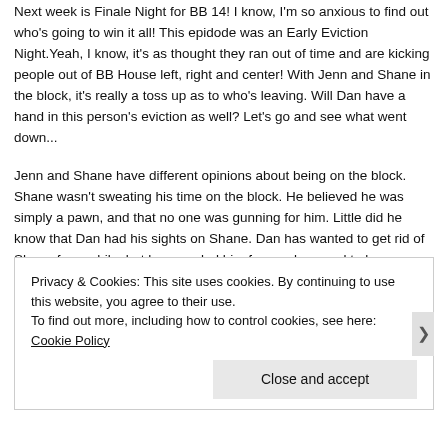Next week is Finale Night for BB 14! I know, I'm so anxious to find out who's going to win it all!  This epidode was an Early Eviction Night.Yeah, I know, it's as thought they ran out of time and are kicking people out of BB House left, right and center!  With Jenn and Shane in the block, it's really a toss up as to who's leaving.  Will Dan have a hand in this person's eviction as well?  Let's go and see what went down...
Jenn and Shane have different opinions about being on the block.  Shane wasn't sweating his time on the block.  He believed he was simply a pawn, and that no one was gunning for him.  Little did he know that Dan had his sights on Shane.  Dan has wanted to get rid of Shane for a while, but has needed him for numbers and to keep
Privacy & Cookies: This site uses cookies. By continuing to use this website, you agree to their use.
To find out more, including how to control cookies, see here: Cookie Policy
Close and accept